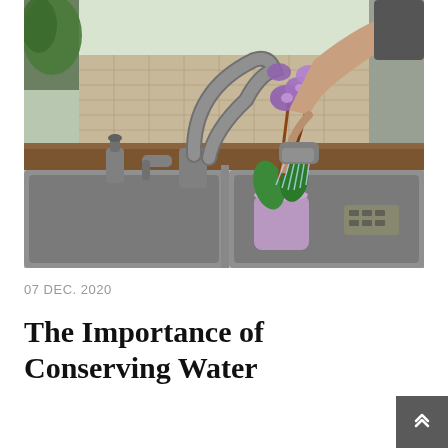[Figure (photo): A person's hand holding a spray nozzle watering a purple orchid plant in a lavender pot, set in a kitchen double sink with a tall gooseneck faucet, tile backsplash, and green plants in the background.]
07 DEC. 2020
The Importance of Conserving Water